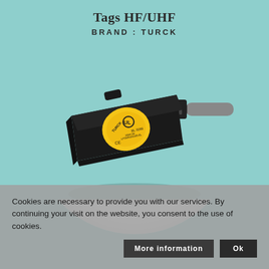Tags HF/UHF
BRAND : TURCK
[Figure (photo): TURCK RFID HF/UHF tag reader/writer device - a black rectangular industrial sensor with a yellow circular label showing CE marking and product codes, with a grey cable attached on the right side, displayed on a white circular background]
Cookies are necessary to provide you with our services. By continuing your visit on the website, you consent to the use of cookies.
More information
Ok